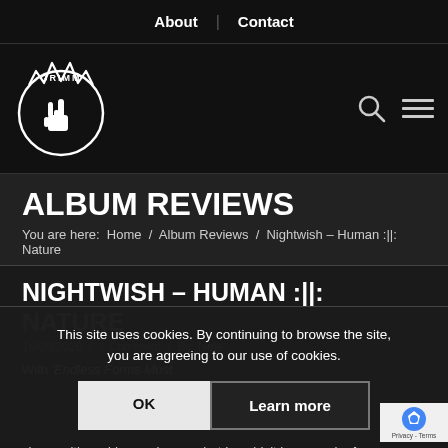About | Contact
[Figure (logo): Grimm metal/rock website logo with circular emblem, devil horns hand sign, and 'GRIMM' text]
ALBUM REVIEWS
You are here: Home / Album Reviews / Nightwish – Human :||: Nature
NIGHTWISH – HUMAN :||: NATURE
14/09/2020 / 1 Comment / By Nele
With 'Endless Forms Most Beautiful' Nightwish had a false start with their new singer Floor Jansen. She's an amazing singer with a wide vocal range, but I couldn't hear much of it on the album. I also missed the familiar Nightwish sound I
This site uses cookies. By continuing to browse the site, you are agreeing to our use of cookies.
OK
Learn more